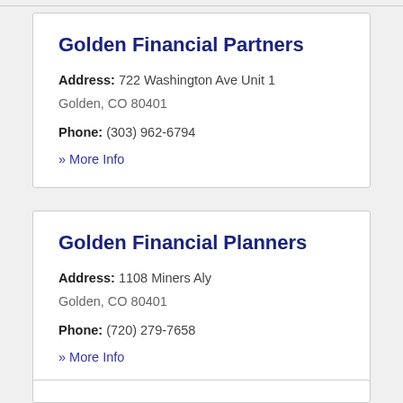Golden Financial Partners
Address: 722 Washington Ave Unit 1
Golden, CO 80401
Phone: (303) 962-6794
» More Info
Golden Financial Planners
Address: 1108 Miners Aly
Golden, CO 80401
Phone: (720) 279-7658
» More Info